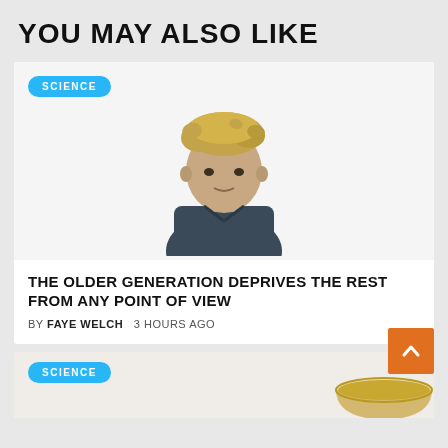YOU MAY ALSO LIKE
[Figure (photo): Portrait photo of a man with messy blonde hair wearing a dark shirt, white background]
THE OLDER GENERATION DEPRIVES THE REST FROM ANY POINT OF VIEW
BY FAYE WELCH   3 HOURS AGO
[Figure (photo): Partial photo of a bowl or cup of soup/tea on a white background]